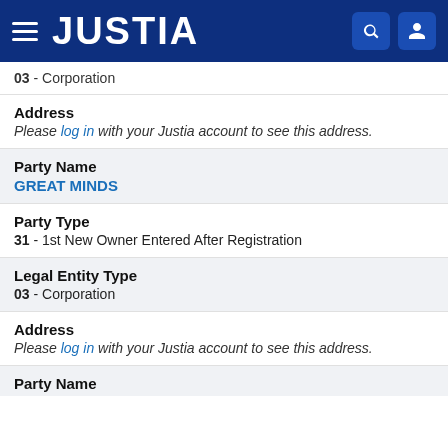JUSTIA
03 - Corporation
Address
Please log in with your Justia account to see this address.
Party Name
GREAT MINDS
Party Type
31 - 1st New Owner Entered After Registration
Legal Entity Type
03 - Corporation
Address
Please log in with your Justia account to see this address.
Party Name